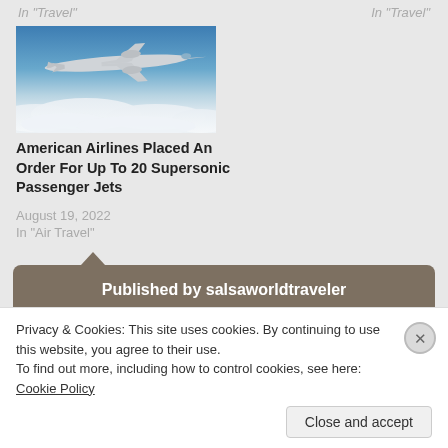In "Travel"
In "Travel"
[Figure (photo): A silver supersonic passenger jet flying above clouds against a blue sky]
American Airlines Placed An Order For Up To 20 Supersonic Passenger Jets
August 19, 2022
In "Air Travel"
Published by salsaworldtraveler
Privacy & Cookies: This site uses cookies. By continuing to use this website, you agree to their use.
To find out more, including how to control cookies, see here: Cookie Policy
Close and accept